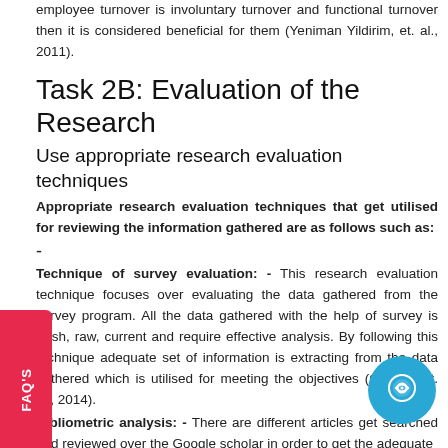employee turnover is involuntary turnover and functional turnover then it is considered beneficial for them (Yeniman Yildirim, et. al., 2011).
Task 2B: Evaluation of the Research
Use appropriate research evaluation techniques
Appropriate research evaluation techniques that get utilised for reviewing the information gathered are as follows such as:
-
Technique of survey evaluation: - This research evaluation technique focuses over evaluating the data gathered from the survey program. All the data gathered with the help of survey is fresh, raw, current and require effective analysis. By following this technique adequate set of information is extracting from the data gathered which is utilised for meeting the objectives (Ostrom, et. al., 2014).
Bibliometric analysis: - There are different articles get searched and reviewed over the Google scholar in order to get the adequate